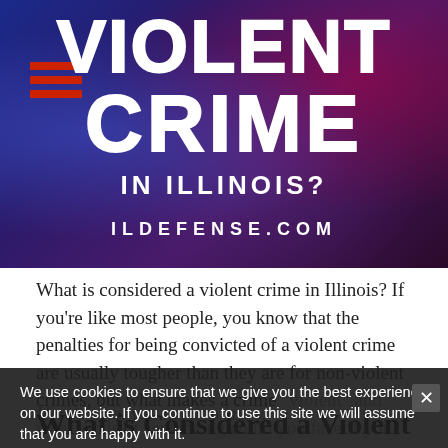[Figure (photo): Hero banner image with dark blue/purple police light background. Large bold white text reads 'VIOLENT CRIME IN ILLINOIS?' with 'ILDEFENSE.COM' at the bottom. Hamburger menu icon in red at top left.]
What is considered a violent crime in Illinois? If you're like most people, you know that the penalties for being convicted of a violent crime are usually tougher than they are for non-violent crimes, but what makes a crime "violent" and what kinds of sentencing could you face if you're convicted?
Here's what you need to know.
We use cookies to ensure that we give you the best experience on our website. If you continue to use this site we will assume that you are happy with it.
Ok    Privacy policy
What is Considered a Violent